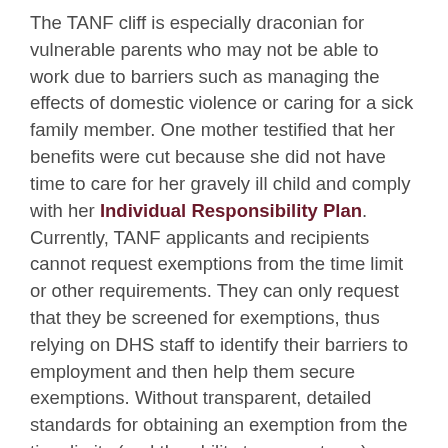The TANF cliff is especially draconian for vulnerable parents who may not be able to work due to barriers such as managing the effects of domestic violence or caring for a sick family member. One mother testified that her benefits were cut because she did not have time to care for her gravely ill child and comply with her Individual Responsibility Plan. Currently, TANF applicants and recipients cannot request exemptions from the time limit or other requirements. They can only request that they be screened for exemptions, thus relying on DHS staff to identify their barriers to employment and then help them secure exemptions. Without transparent, detailed standards for obtaining an exemption from the time limits (and the ability to request one), parents who could qualify for such exemptions may be overlooked by agency staff and unaware of their own rights. Spelling out clear policies for those unable to work (and ensuring that they are appropriately exempted from work